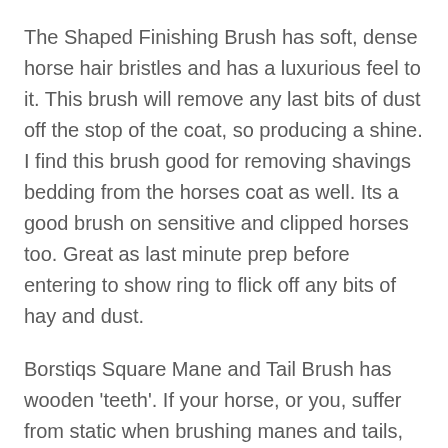The Shaped Finishing Brush has soft, dense horse hair bristles and has a luxurious feel to it. This brush will remove any last bits of dust off the stop of the coat, so producing a shine. I find this brush good for removing shavings bedding from the horses coat as well. Its a good brush on sensitive and clipped horses too. Great as last minute prep before entering to show ring to flick off any bits of hay and dust.
Borstiqs Square Mane and Tail Brush has wooden 'teeth'. If your horse, or you, suffer from static when brushing manes and tails, this will eliminate the static.